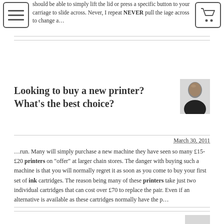should be able to simply lift the lid or press a specific button to your carriage to slide across. Never, I repeat NEVER pull the iage across to change a...
Looking to buy a new printer? What's the best choice?
March 30, 2011
...run. Many will simply purchase a new machine they have seen so many £15-£20 printers on “offer” at larger chain stores. The danger with buying such a machine is that you will normally regret it as soon as you come to buy your first set of ink cartridges. The reason being many of these printers take just two individual cartridges that can cost over £70 to replace the pair. Even if an alternative is available as these cartridges normally have the p...
[Figure (photo): Author headshot - bald man in black shirt]
[Figure (photo): Author headshot - bald man in black shirt, partially visible at bottom]